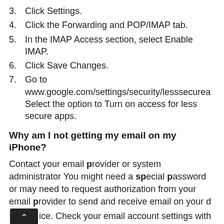3. Click Settings.
4. Click the Forwarding and POP/IMAP tab.
5. In the IMAP Access section, select Enable IMAP.
6. Click Save Changes.
7. Go to www.google.com/settings/security/lesssecurea Select the option to Turn on access for less secure apps.
Why am I not getting my email on my iPhone?
Contact your email provider or system administrator You might need a special password or may need to request authorization from your email provider to send and receive email on your device. Check your email account settings with your mail provider or system administrator to make sure that they're correct.